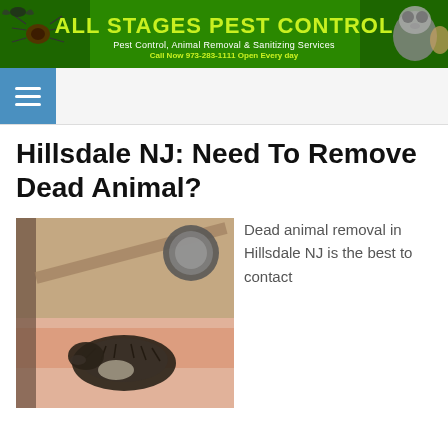[Figure (logo): All Stages Pest Control banner with green background, spider, bat, raccoon, and squirrel images. Text: ALL STAGES PEST CONTROL, Pest Control, Animal Removal & Sanitizing Services, Call Now 973-283-1111 Open Every day]
[Figure (other): Navigation bar with blue hamburger menu icon on left]
Hillsdale NJ: Need To Remove Dead Animal?
[Figure (photo): Photo of a dead animal (appears to be a rodent/opossum) in an attic or crawl space with pink insulation visible]
Dead animal removal in Hillsdale NJ is the best to contact